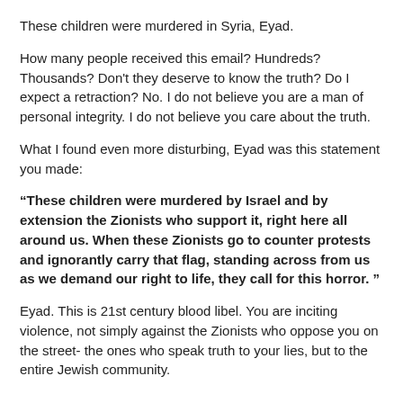These children were murdered in Syria, Eyad.
How many people received this email?  Hundreds?  Thousands?  Don't they deserve to know the truth?  Do I expect a retraction? No.  I do not believe you are a man of personal integrity.  I do not believe you care about the truth.
What I found even more disturbing, Eyad was this statement you made:
“These children were murdered by Israel and by extension the Zionists who support it, right here all around us.  When these Zionists go to counter protests and ignorantly carry that flag, standing across from us as we demand our right to life, they call for this horror.  ”
Eyad.  This is 21st century blood libel.  You are inciting violence, not simply against the Zionists who oppose you on the street- the ones who speak truth to your lies, but to the entire Jewish community.